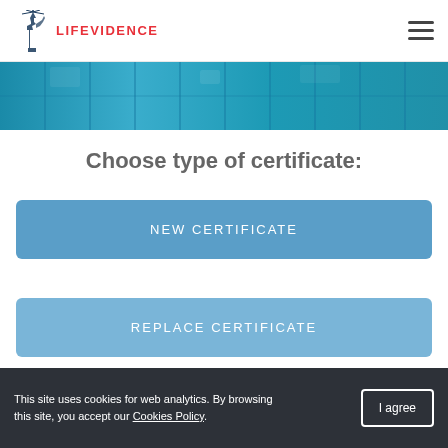LIFEVIDENCE
[Figure (photo): Blue tiled background banner image]
Choose type of certificate:
NEW CERTIFICATE
REPLACE CERTIFICATE
This site uses cookies for web analytics. By browsing this site, you accept our Cookies Policy.